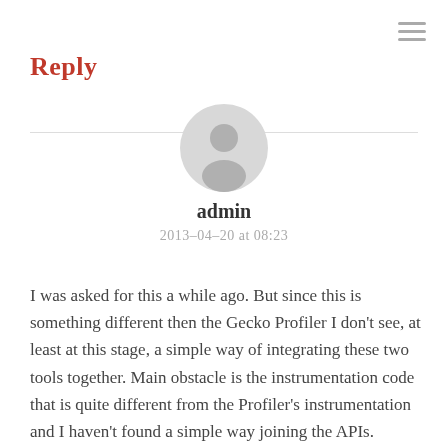Reply
[Figure (illustration): Circular user avatar with grey silhouette on light grey background]
admin
2013-04-20 at 08:23
I was asked for this a while ago. But since this is something different then the Gecko Profiler I don't see, at least at this stage, a simple way of integrating these two tools together. Main obstacle is the instrumentation code that is quite different from the Profiler's instrumentation and I haven't found a simple way joining the APIs. However, integrating it is one of long term goals, despite problems I have with the profiler which prevent me to use it at all (…)